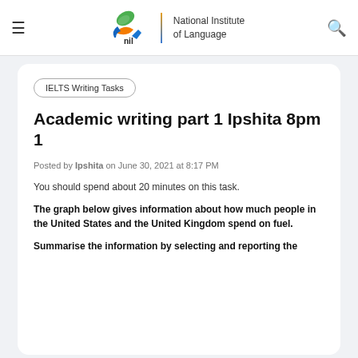NIL — National Institute of Language (navigation bar with logo)
IELTS Writing Tasks
Academic writing part 1 Ipshita 8pm 1
Posted by Ipshita on June 30, 2021 at 8:17 PM
You should spend about 20 minutes on this task.
The graph below gives information about how much people in the United States and the United Kingdom spend on fuel.
Summarise the information by selecting and reporting the main features and make comparisons where...